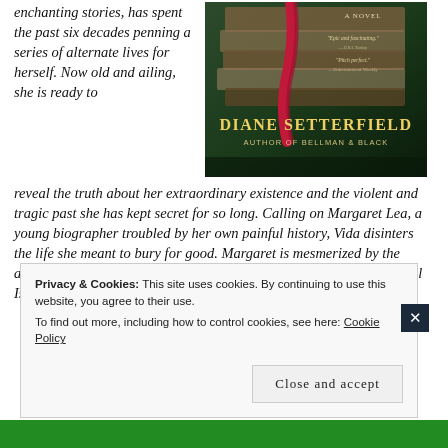enchanting stories, has spent the past six decades penning a series of alternate lives for herself. Now old and ailing, she is ready to
[Figure (photo): Book cover of a novel by Diane Setterfield, author of Bellman & Black. Shows stacked old books with a red ribbon. Text on cover includes 'A Novel', review quotes 'Epic and fascinating – USA Today' and 'Pitch perfect – Entertainment Weekly', author name DIANE SETTERFIELD, and tagline AUTHOR OF BELLMAN & BLACK.]
reveal the truth about her extraordinary existence and the violent and tragic past she has kept secret for so long. Calling on Margaret Lea, a young biographer troubled by her own painful history, Vida disinters the life she meant to bury for good. Margaret is mesmerized by the author's tale of gothic strangeness—featuring the beautiful and willful Isabelle, the feral twins Adeline and
Privacy & Cookies: This site uses cookies. By continuing to use this website, you agree to their use.
To find out more, including how to control cookies, see here: Cookie Policy
Close and accept